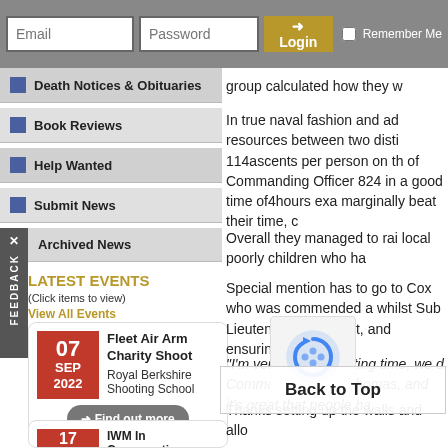Email | Password | Login | Remember Me
Death Notices & Obituaries
Book Reviews
Help Wanted
Submit News
Archived News
LATEST EVENTS
(Click items to view)
View All Events
Fleet Air Arm Charity Shoot
Royal Berkshire Shooting School
07 SEP 2022
Find out more
IWM In Conversation: Battle of Britain
IWM Duxford
17 SEP 2022
group calculated how they w
In true naval fashion and ad resources between two disti 114ascents per person on th of Commanding Officer 824 in a good time of4hours exa marginally beat their time, c
Overall they managed to rai local poorly children who ha
Special mention has to go to Cox who was commended a whilst Sub Lieutenant Max event, and ensuring the clim
"I'm very proud d testing time, we d Commander Steve Thomas, and it's great that people ha
Thanks Back to Top down to setting up the walls and allo